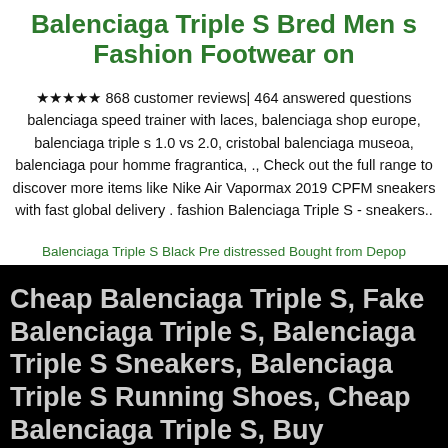Balenciaga Triple S Bred Men s Fashion Footwear on
★★★★★ 868 customer reviews| 464 answered questions balenciaga speed trainer with laces, balenciaga shop europe, balenciaga triple s 1.0 vs 2.0, cristobal balenciaga museoa, balenciaga pour homme fragrantica, ., Check out the full range to discover more items like Nike Air Vapormax 2019 CPFM sneakers with fast global delivery . fashion Balenciaga Triple S - sneakers..
Balenciaga Triple S Black Pre distressed Bought from Depop
Cheap Balenciaga Triple S, Fake Balenciaga Triple S, Balenciaga Triple S Sneakers, Balenciaga Triple S Running Shoes, Cheap Balenciaga Triple S, Buy Balenciaga Triple S, Balenciaga Triple S